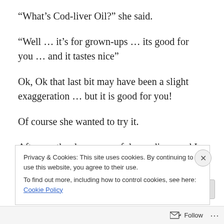“What’s Cod-liver Oil?” she said.
“Well … it’s for grown-ups … its good for you … and it tastes nice”
Ok, Ok that last bit may have been a slight exaggeration … but it is good for you!
Of course she wanted to try it.
After a rather large spoonful was dispensed I have never seen anyone move to the fridge and down half a pint of
Privacy & Cookies: This site uses cookies. By continuing to use this website, you agree to their use.
To find out more, including how to control cookies, see here: Cookie Policy
Close and accept
Follow